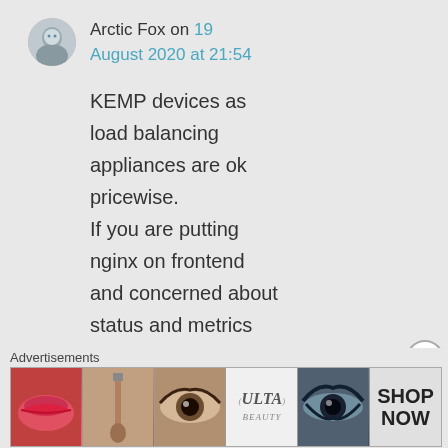Arctic Fox on 19 August 2020 at 21:54
KEMP devices as load balancing appliances are ok pricewise. If you are putting nginx on frontend and concerned about status and metrics you can always – build your own nginx with extended
Advertisements
[Figure (photo): Advertisement banner for Ulta Beauty showing cosmetics imagery including lips, makeup brush, eye with makeup, Ulta Beauty logo, eye with dark makeup, and SHOP NOW text]